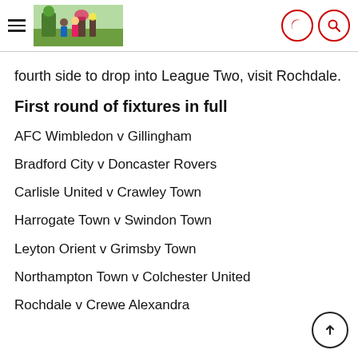[Navigation header with hamburger menu, logo image, moon icon, and search icon]
fourth side to drop into League Two, visit Rochdale.
First round of fixtures in full
AFC Wimbledon v Gillingham
Bradford City v Doncaster Rovers
Carlisle United v Crawley Town
Harrogate Town v Swindon Town
Leyton Orient v Grimsby Town
Northampton Town v Colchester United
Rochdale v Crewe Alexandra